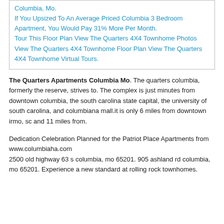Columbia, Mo. If You Upsized To An Average Priced Columbia 3 Bedroom Apartment, You Would Pay 31% More Per Month. Tour This Floor Plan View The Quarters 4X4 Townhome Photos View The Quarters 4X4 Townhome Floor Plan View The Quarters 4X4 Townhome Virtual Tours.
The Quarters Apartments Columbia Mo. The quarters columbia, formerly the reserve, strives to. The complex is just minutes from downtown columbia, the south carolina state capital, the university of south carolina, and columbiana mall.it is only 6 miles from downtown irmo, sc and 11 miles from.
Dedication Celebration Planned for the Patriot Place Apartments from www.columbiaha.com
2500 old highway 63 s columbia, mo 65201. 905 ashland rd columbia, mo 65201. Experience a new standard at rolling rock townhomes.